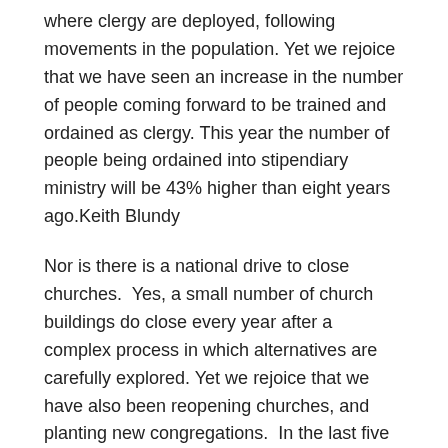where clergy are deployed, following movements in the population. Yet we rejoice that we have seen an increase in the number of people coming forward to be trained and ordained as clergy. This year the number of people being ordained into stipendiary ministry will be 43% higher than eight years ago.Keith Blundy
Nor is there is a national drive to close churches.  Yes, a small number of church buildings do close every year after a complex process in which alternatives are carefully explored. Yet we rejoice that we have also been reopening churches, and planting new congregations.  In the last five years, we have planted or reopened or revived over a hundred churches – in towns and cities across England, in places such as Blackpool, Preston, Rotherham, Wigan, Dudley, Goole, Stockton-on-Tees, Mansfield, Swindon, Hastings, and Plymouth.